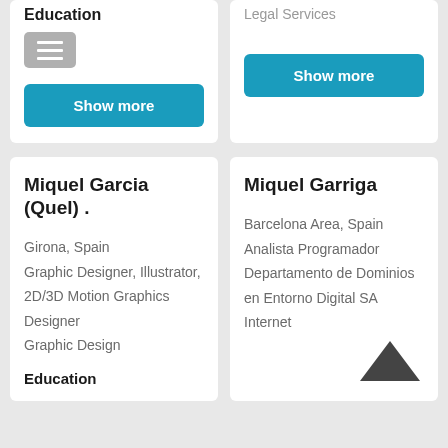Education
Legal Services
[Figure (other): Hamburger menu icon button (gray rounded rectangle with three white horizontal lines)]
Show more
Show more
Miquel Garcia (Quel) .
Girona, Spain
Graphic Designer, Illustrator, 2D/3D Motion Graphics Designer
Graphic Design
Education
Miquel Garriga
Barcelona Area, Spain
Analista Programador
Departamento de Dominios en Entorno Digital SA
Internet
[Figure (other): Chevron/caret up arrow icon (dark gray, pointing upward)]